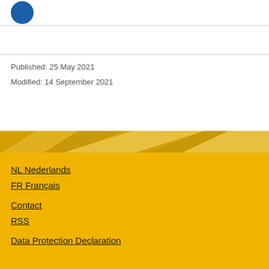[Figure (logo): Circular blue logo/emblem in top-left corner]
Published: 25 May 2021
Modified: 14 September 2021
NL Nederlands
FR Français
Contact
RSS
Data Protection Declaration